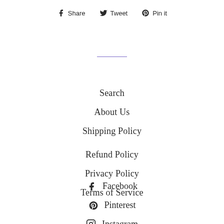Share
Tweet
Pin it
Search
About Us
Shipping Policy
Refund Policy
Privacy Policy
Terms of Service
Facebook
Pinterest
Instagram